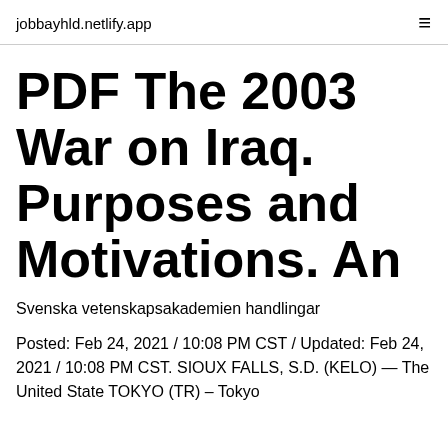jobbayhld.netlify.app
PDF The 2003 War on Iraq. Purposes and Motivations. An
Svenska vetenskapsakademien handlingar
Posted: Feb 24, 2021 / 10:08 PM CST / Updated: Feb 24, 2021 / 10:08 PM CST. SIOUX FALLS, S.D. (KELO) — The United State TOKYO (TR) – Tokyo